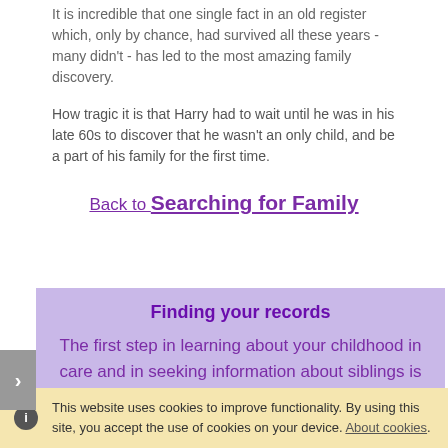It is incredible that one single fact in an old register which, only by chance, had survived all these years - many didn't - has led to the most amazing family discovery.
How tragic it is that Harry had to wait until he was in his late 60s to discover that he wasn't an only child, and be a part of his family for the first time.
Back to Searching for Family
Finding your records
The first step in learning about your childhood in care and in seeking information about siblings is to apply to see your records from the care authority in the location of your children's home.
There may not be any records, they may contain
This website uses cookies to improve functionality. By using this site, you accept the use of cookies on your device. About cookies.